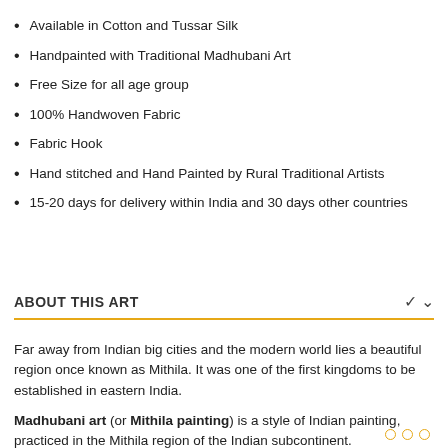Available in Cotton and Tussar Silk
Handpainted with Traditional Madhubani Art
Free Size for all age group
100% Handwoven Fabric
Fabric Hook
Hand stitched and Hand Painted by Rural Traditional Artists
15-20 days for delivery within India and 30 days other countries
ABOUT THIS ART
Far away from Indian big cities and the modern world lies a beautiful region once known as Mithila. It was one of the first kingdoms to be established in eastern India.
Madhubani art (or Mithila painting) is a style of Indian painting, practiced in the Mithila region of the Indian subcontinent.